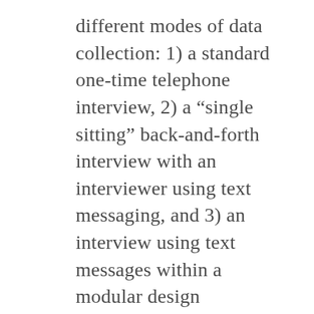different modes of data collection: 1) a standard one-time telephone interview, 2) a “single sitting” back-and-forth interview with an interviewer using text messaging, and 3) an interview using text messages within a modular design framework (which generally involves breaking the survey response task into distinct parts over a short period of time). Respondents in the modular group were asked to respond (via text message exchanges with an interviewer) to only one question on a given day, rather than complete the entire survey. Both bivariate and multivariate analyses demonstrate that the two text messaging modes increased the